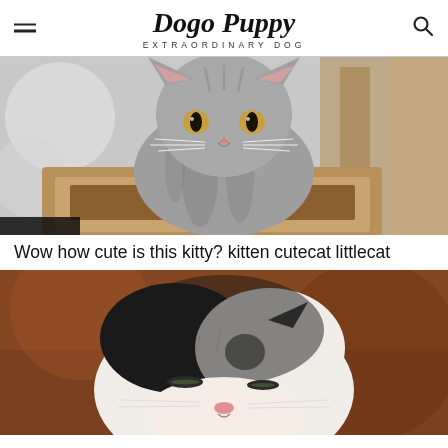Dogo Puppy — EXTRAORDINARY DOG
[Figure (photo): A tabby kitten sitting upright inside a carpeted cat tree basket, looking slightly to the side with alert eyes. Gray and white striped fur. Blurred white and brown background.]
Wow how cute is this kitty? kitten cutecat littlecat
[Figure (photo): A close-up of a very young newborn kitten with white and black fur, small eyes barely open, facing the camera. Blurred warm brown background.]